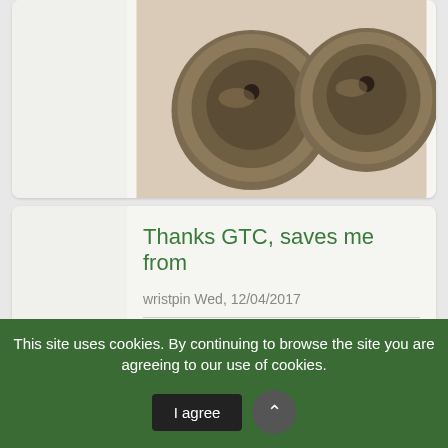[Figure (photo): Partial view of two bronze/brass round hardware pieces (door knobs or similar) on a cream/beige carpet surface. Only the right portion of the card is shown.]
Thanks GTC, saves me from
wristpin Wed, 12/04/2017
Thanks GTC, saves me from having to dismantle mine. Your image clearly shows the spring clip ( by any name) on the float. If it has rusted away it may be
This site uses cookies. By continuing to browse the site you are agreeing to our use of cookies.